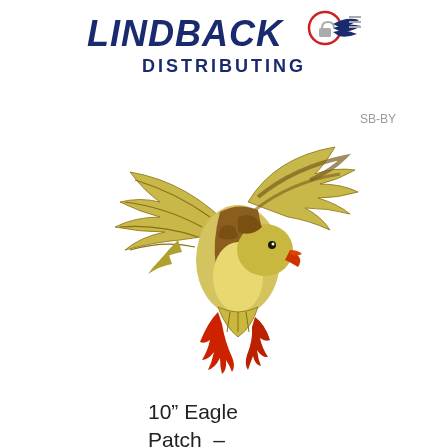[Figure (logo): Lindback Distributing logo with eagle wing graphic and company name in dark blue italic bold font]
SB-BY
[Figure (photo): Embroidered eagle patch in brown and yellow colors, with red beak and talons, wings spread in landing/attacking pose]
10” Eagle Patch – Brown/Yellow
$10.00